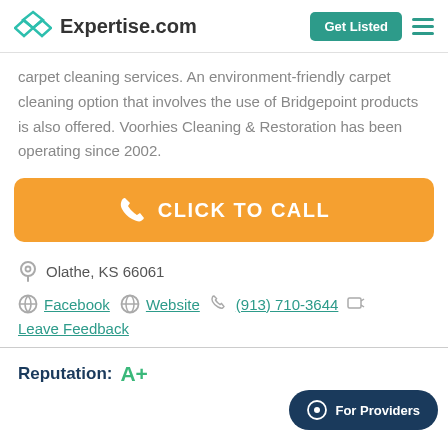Expertise.com | Get Listed
carpet cleaning services. An environment-friendly carpet cleaning option that involves the use of Bridgepoint products is also offered. Voorhies Cleaning & Restoration has been operating since 2002.
[Figure (infographic): Orange 'CLICK TO CALL' button with phone icon]
Olathe, KS 66061
Facebook  Website  (913) 710-3644
Leave Feedback
Reputation: A+
[Figure (infographic): For Providers chat bubble button in dark teal]